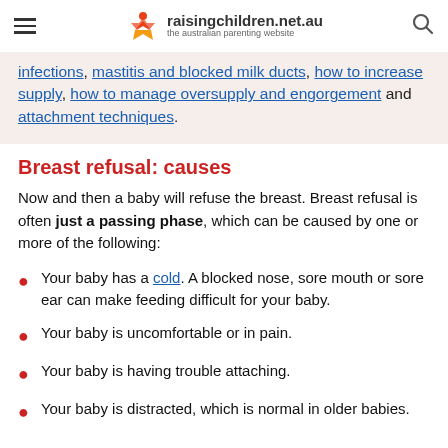raisingchildren.net.au — the australian parenting website
infections, mastitis and blocked milk ducts, how to increase supply, how to manage oversupply and engorgement and attachment techniques.
Breast refusal: causes
Now and then a baby will refuse the breast. Breast refusal is often just a passing phase, which can be caused by one or more of the following:
Your baby has a cold. A blocked nose, sore mouth or sore ear can make feeding difficult for your baby.
Your baby is uncomfortable or in pain.
Your baby is having trouble attaching.
Your baby is distracted, which is normal in older babies.